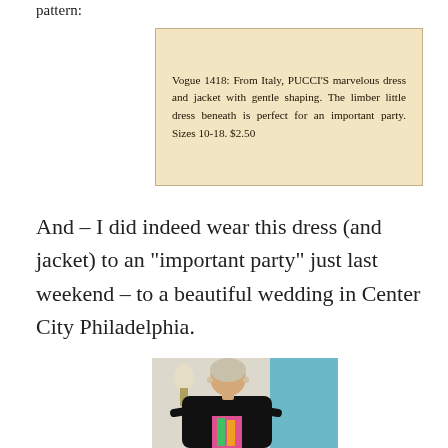pattern:
[Figure (photo): Scanned text excerpt from a Vogue pattern envelope: 'Vogue 1418: From Italy, PUCCI'S marvelous dress and jacket with gentle shaping. The limber little dress beneath is perfect for an important party. Sizes 10-18. $2.50']
And – I did indeed wear this dress (and jacket) to an “important party” just last weekend – to a beautiful wedding in Center City Philadelphia.
[Figure (photo): Photograph of a woman with short blonde/grey hair wearing a black jacket over a colorful Pucci-style dress, standing with hands on hips in front of a wall with a sconce lamp and a teal/blue door.]